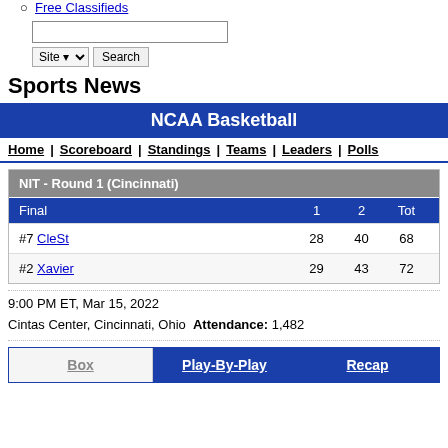Free Classifieds
Site Search (search input and button)
Sports News
NCAA Basketball
Home | Scoreboard | Standings | Teams | Leaders | Polls
| NIT - Round 1 (Cincinnati) |  |  |
| --- | --- | --- |
| Final | 1 | 2 | Tot |
| #7 CleSt | 28 | 40 | 68 |
| #2 Xavier | 29 | 43 | 72 |
9:00 PM ET, Mar 15, 2022
Cintas Center, Cincinnati, Ohio  Attendance: 1,482
Box | Play-By-Play | Recap